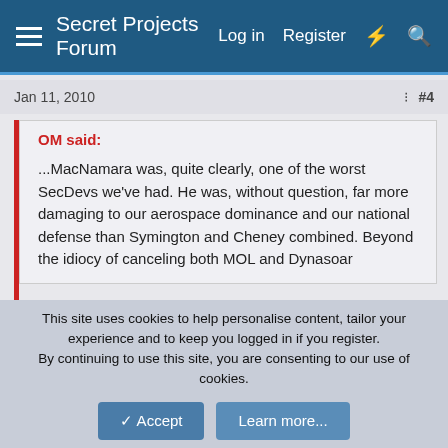Secret Projects Forum   Log in   Register
Jan 11, 2010   #4
OM said:

...MacNamara was, quite clearly, one of the worst SecDevs we've had. He was, without question, far more damaging to our aerospace dominance and our national defense than Symington and Cheney combined. Beyond the idiocy of canceling both MOL and Dynasoar
Although I don't want to defend McNamara in general, let me point out that MOL was approved while he was at DoD (1965) and canceled (1969) after his departure (1968). Personally, I hold his support of MOL against him: as a space station it was inferior to NASA's stations in every respect, it weakened support for the...
This site uses cookies to help personalise content, tailor your experience and to keep you logged in if you register.
By continuing to use this site, you are consenting to our use of cookies.
Accept   Learn more...